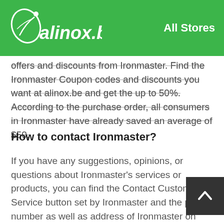alinox.be — All Stores
offers and discounts from Ironmaster. Find the Ironmaster Coupon codes and discounts you want at alinox.be and get the up to 50%. According to the purchase order, all consumers in Ironmaster have already saved an average of $50.
How to contact Ironmaster?
If you have any suggestions, opinions, or questions about Ironmaster's services or products, you can find the Contact Customer Service button set by Ironmaster and the phone number as well as address of Ironmaster on any page of ironmaster.com. Just add email detailss and click the Contact Customer Service button to communicate with Ironmaster customer service online. Ironmaster customer service is committed to bringing a good service experience